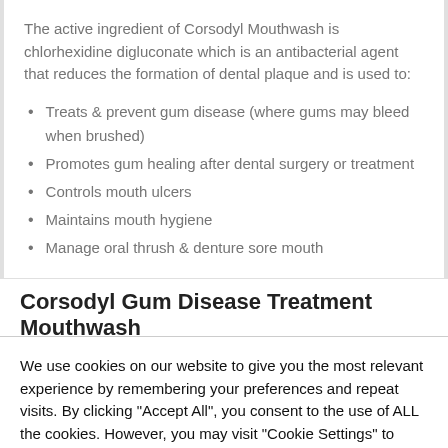The active ingredient of Corsodyl Mouthwash is chlorhexidine digluconate which is an antibacterial agent that reduces the formation of dental plaque and is used to:
Treats & prevent gum disease (where gums may bleed when brushed)
Promotes gum healing after dental surgery or treatment
Controls mouth ulcers
Maintains mouth hygiene
Manage oral thrush & denture sore mouth
Corsodyl Gum Disease Treatment Mouthwash
We use cookies on our website to give you the most relevant experience by remembering your preferences and repeat visits. By clicking "Accept All", you consent to the use of ALL the cookies. However, you may visit "Cookie Settings" to provide a controlled consent.